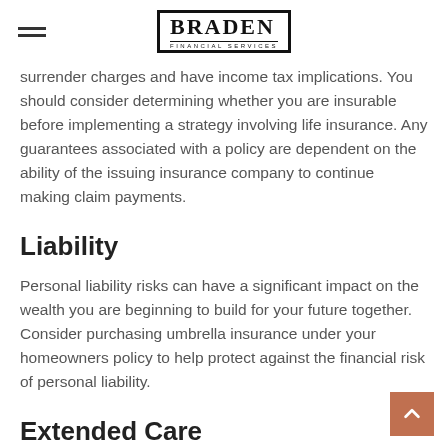BRADEN FINANCIAL SERVICES
surrender charges and have income tax implications. You should consider determining whether you are insurable before implementing a strategy involving life insurance. Any guarantees associated with a policy are dependent on the ability of the issuing insurance company to continue making claim payments.
Liability
Personal liability risks can have a significant impact on the wealth you are beginning to build for your future together. Consider purchasing umbrella insurance under your homeowners policy to help protect against the financial risk of personal liability.
Extended Care